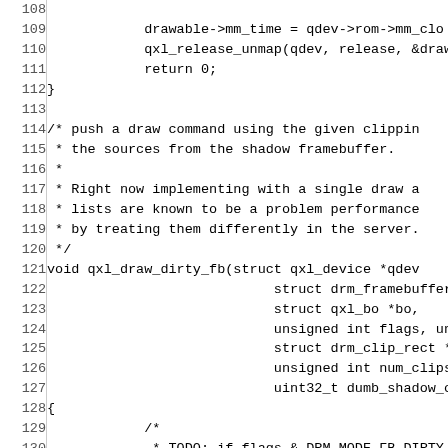[Figure (screenshot): Source code listing in C showing lines 108–137 of a file, featuring the qxl_draw_dirty_fb function definition and surrounding context. Line numbers appear in left column, code in right column using monospace font.]